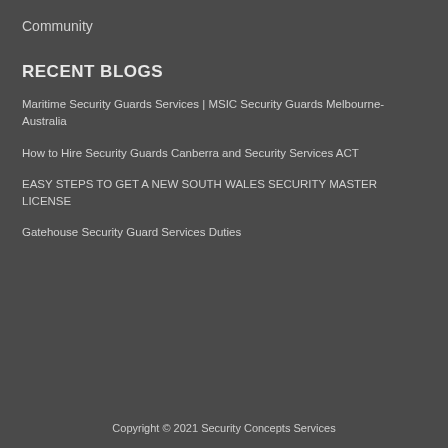Community
RECENT BLOGS
Maritime Security Guards Services | MSIC Security Guards Melbourne-Australia
How to Hire Security Guards Canberra and Security Services ACT
EASY STEPS TO GET A NEW SOUTH WALES SECURITY MASTER LICENSE
Gatehouse Security Guard Services Duties
Copyright © 2021 Security Concepts Services